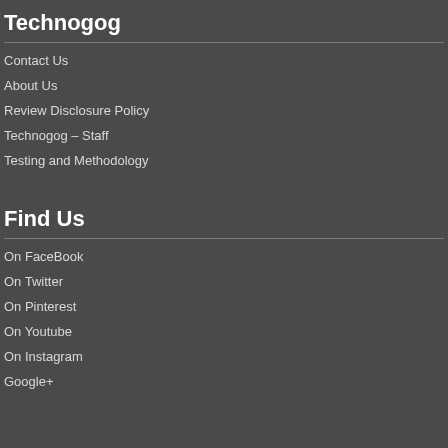Technogog
Contact Us
About Us
Review Disclosure Policy
Technogog – Staff
Testing and Methodology
Find Us
On FaceBook
On Twitter
On Pinterest
On Youtube
On Instagram
Google+